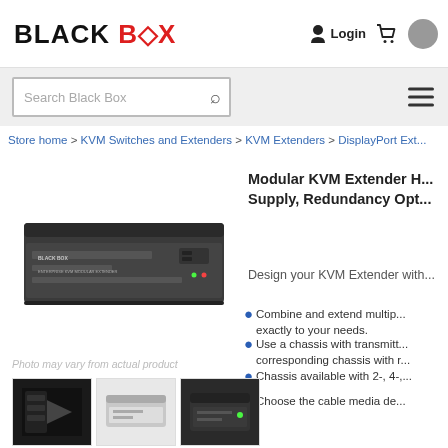BLACK BOX
Search Black Box
Store home > KVM Switches and Extenders > KVM Extenders > DisplayPort Ext...
[Figure (photo): Black Box modular KVM extender chassis hardware unit, rack-mount style, dark gray]
Modular KVM Extender H... Supply, Redundancy Opt...
Design your KVM Extender with...
Combine and extend multip... exactly to your needs.
Use a chassis with transmitt... corresponding chassis with r...
Chassis available with 2-, 4-,...
Choose the cable media de...
Photo may vary from actual product
[Figure (photo): Thumbnail 1: Black module/card]
[Figure (photo): Thumbnail 2: White/silver rack unit]
[Figure (photo): Thumbnail 3: Dark rack unit]